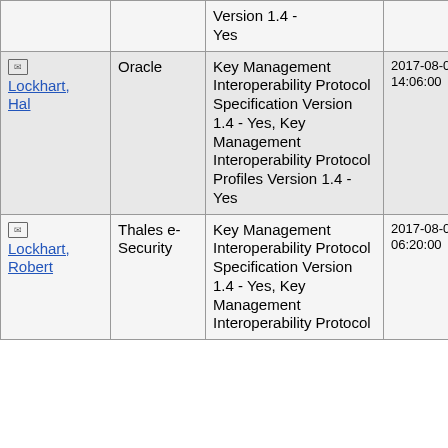| Name | Organization | Specification | Date |  |
| --- | --- | --- | --- | --- |
|  |  | Version 1.4 - Yes |  |  |
| [icon] Lockhart, Hal | Oracle | Key Management Interoperability Protocol Specification Version 1.4 - Yes, Key Management Interoperability Protocol Profiles Version 1.4 - Yes | 2017-08-03 14:06:00 |  |
| [icon] Lockhart, Robert | Thales e-Security | Key Management Interoperability Protocol Specification Version 1.4 - Yes, Key Management Interoperability Protocol... | 2017-08-08 06:20:00 |  |